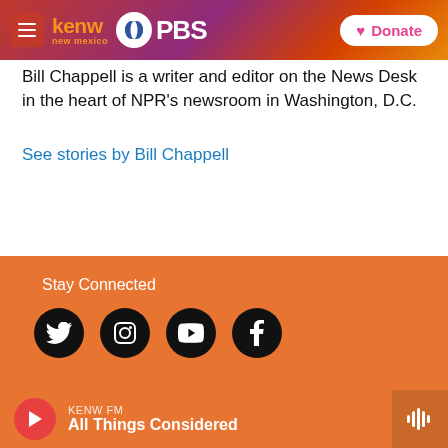kenw new mexico PBS | Donate
Bill Chappell is a writer and editor on the News Desk in the heart of NPR's newsroom in Washington, D.C.
See stories by Bill Chappell
Stay Connected
[Figure (infographic): Four social media icons (Twitter, Instagram, YouTube, Facebook) as white icons on black circles]
KENW FM
All Things Considered